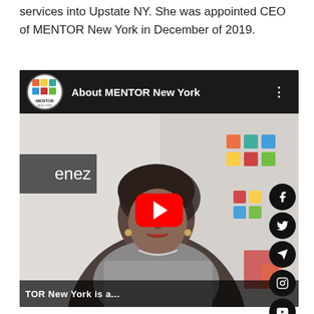services into Upstate NY. She was appointed CEO of MENTOR New York in December of 2019.
[Figure (screenshot): Embedded YouTube video player showing 'About MENTOR New York'. The video thumbnail shows a woman speaking in front of a MENTOR New York branded background with colorful geometric logo. A red YouTube play button is centered on the image. The video bar shows the MENTOR New York logo and title. Social media sharing icons (Facebook, Twitter, Telegram, Instagram, YouTube, TikTok, email, phone) are visible on the right side. A black bottom bar shows partial text 'TOR New York is a...'.]